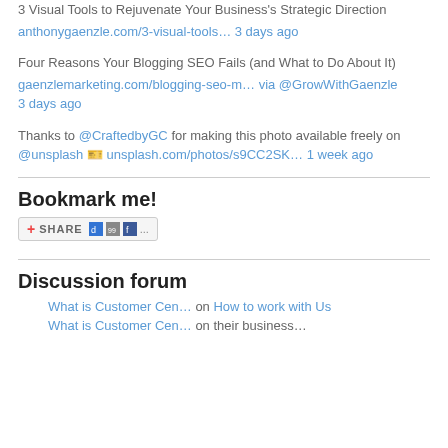3 Visual Tools to Rejuvenate Your Business's Strategic Direction
anthonygaenzle.com/3-visual-tools… 3 days ago
Four Reasons Your Blogging SEO Fails (and What to Do About It)
gaenzlemarketing.com/blogging-seo-m… via @GrowWithGaenzle 3 days ago
Thanks to @CraftedbyGC for making this photo available freely on @unsplash 🎫 unsplash.com/photos/s9CC2SK… 1 week ago
Bookmark me!
[Figure (screenshot): Share/bookmark button with icons for Delicious, Digg, Facebook and more]
Discussion forum
What is Customer Cen… on How to work with Us
What is Customer Cen… on their business…